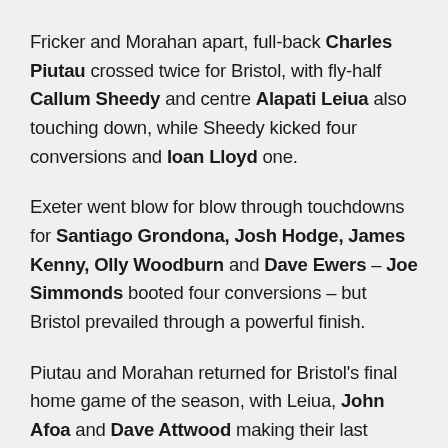Fricker and Morahan apart, full-back Charles Piutau crossed twice for Bristol, with fly-half Callum Sheedy and centre Alapati Leiua also touching down, while Sheedy kicked four conversions and Ioan Lloyd one.
Exeter went blow for blow through touchdowns for Santiago Grondona, Josh Hodge, James Kenny, Olly Woodburn and Dave Ewers – Joe Simmonds booted four conversions – but Bristol prevailed through a powerful finish.
Piutau and Morahan returned for Bristol's final home game of the season, with Leiua, John Afoa and Dave Attwood making their last Ashton Gate appearances